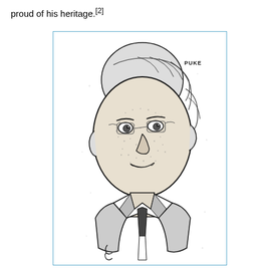proud of his heritage.[2]
[Figure (illustration): Black and white caricature/illustration of a man with exaggerated large head, short hair swept back, wearing glasses, suit and tie. The artist signature 'PUKE' or similar appears in the upper right of the image.]